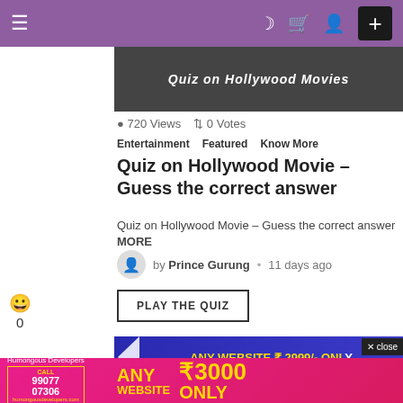≡  ☾ 🛒 👤  +
[Figure (screenshot): Quiz on Hollywood Movies header image with dark background]
720 Views  ↑↓ 0 Votes
Entertainment   Featured   Know More
Quiz on Hollywood Movie – Guess the correct answer
Quiz on Hollywood Movie – Guess the correct answer MORE
by Prince Gurung • 11 days ago
PLAY THE QUIZ
[Figure (advertisement): ANY WEBSITE ₹ 2999/- ONLY banner ad in blue/purple with close button]
[Figure (advertisement): Humongous Developers pink advertisement: ANY WEBSITE ₹3000 ONLY, CALL 99077 07306]